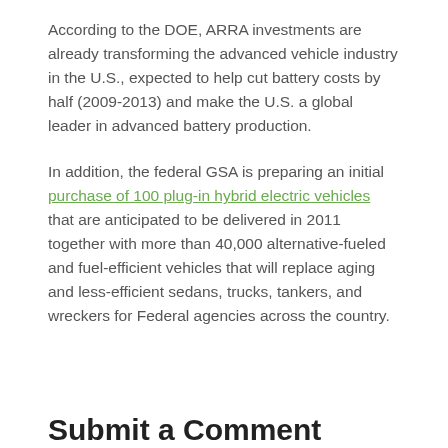According to the DOE, ARRA investments are already transforming the advanced vehicle industry in the U.S., expected to help cut battery costs by half (2009-2013) and make the U.S. a global leader in advanced battery production.
In addition, the federal GSA is preparing an initial purchase of 100 plug-in hybrid electric vehicles that are anticipated to be delivered in 2011 together with more than 40,000 alternative-fueled and fuel-efficient vehicles that will replace aging and less-efficient sedans, trucks, tankers, and wreckers for Federal agencies across the country.
Submit a Comment
Your email address will not be published. Required